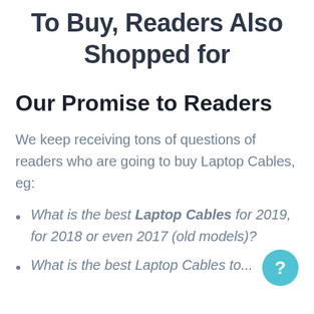To Buy, Readers Also Shopped for
Our Promise to Readers
We keep receiving tons of questions of readers who are going to buy Laptop Cables, eg:
What is the best Laptop Cables for 2019, for 2018 or even 2017 (old models)?
What is the best Laptop Cables to...